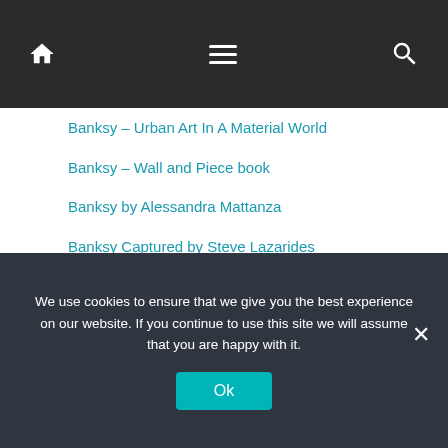Navigation bar with home, menu, and search icons
Banksy – Urban Art In A Material World
Banksy – Wall and Piece book
Banksy by Alessandra Mattanza
Banksy Captured by Steve Lazarides
Banksy Captured Volume 2
Banksy Completed book
Banksy Cut It Out book
Banksy Existencilism Book
Banksy in New York by Ray Mock
We use cookies to ensure that we give you the best experience on our website. If you continue to use this site we will assume that you are happy with it.